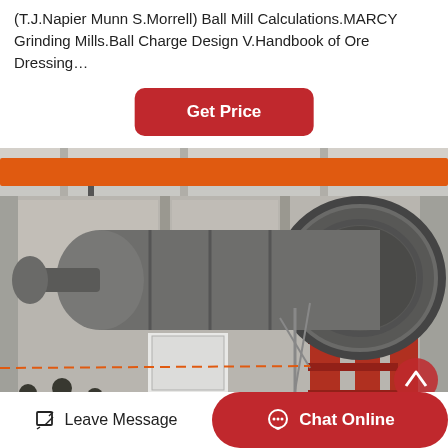(T.J.Napier Munn S.Morrell) Ball Mill Calculations.MARCY Grinding Mills.Ball Charge Design V.Handbook of Ore Dressing…
[Figure (other): Red button labeled 'Get Price']
[Figure (photo): Industrial photo of a large ball mill inside a manufacturing facility. A large cylindrical grinding mill is mounted on red support structures. Orange overhead crane visible at top. Workers in foreground wearing hard hats. Industrial building interior with metal scaffolding and equipment.]
[Figure (other): Bottom navigation bar with 'Leave Message' icon-button on left and red 'Chat Online' button on right. A red circular scroll-to-top arrow button is visible at bottom right of the photo.]